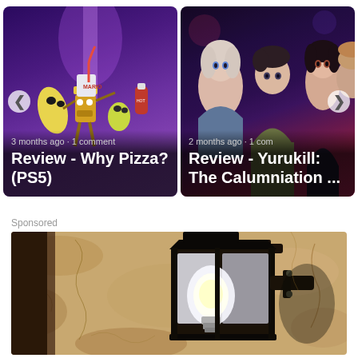[Figure (screenshot): Carousel card 1: Review - Why Pizza? (PS5). Purple animated-style background with cartoon food characters. Text overlay: '3 months ago · 1 comment' and title 'Review - Why Pizza? (PS5)']
[Figure (screenshot): Carousel card 2: Review - Yurukill: The Calumniation.... Dark background with anime-style characters. Text overlay: '2 months ago · 1 com' and title 'Review - Yurukill: The Calumniation ...']
Sponsored
[Figure (photo): Sponsored image: Close-up photograph of a vintage wall lantern mounted on a textured stone/stucco wall. The lantern is black metal with glass panels and contains a visible light bulb.]